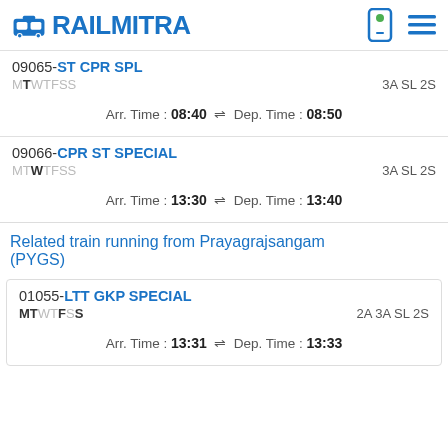RAILMITRA
09065-ST CPR SPL
MTWTFSS	3A SL 2S
Arr. Time : 08:40 ⇌ Dep. Time : 08:50
09066-CPR ST SPECIAL
MTWTFSS	3A SL 2S
Arr. Time : 13:30 ⇌ Dep. Time : 13:40
Related train running from Prayagrajsangam (PYGS)
01055-LTT GKP SPECIAL
MTWTFSS	2A 3A SL 2S
Arr. Time :13:31 ⇌ Dep. Time :13:33